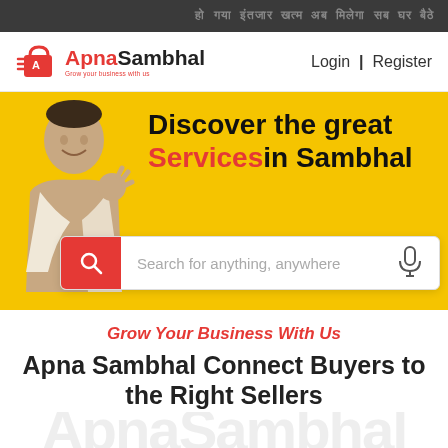हो गया इंतजार खत्म अब मिलेगा सब घर बैठे
[Figure (logo): ApnaSambhal logo with shopping bag icon and tagline 'Grow your business with us']
Login | Register
[Figure (screenshot): Hero banner with yellow background, smiling man making OK gesture, bold text 'Discover the great Services in Sambhal', and a search bar with red search icon and mic icon]
Grow Your Business With Us
Apna Sambhal Connect Buyers to the Right Sellers